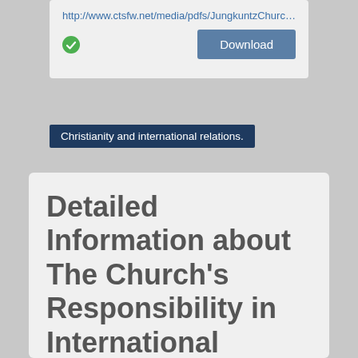http://www.ctsfw.net/media/pdfs/JungkuntzChurchsRe...
[Figure (screenshot): Download button with green checkmark icon and blue Download button]
Christianity and international relations.
Detailed Information about The Church's Responsibility in International Affairs
Author
Richard P. Jungkuntz